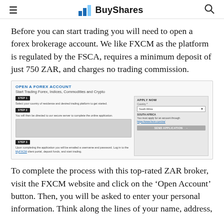BuyShares
Before you can start trading you will need to open a forex brokerage account. We like FXCM as the platform is regulated by the FSCA, requires a minimum deposit of just 750 ZAR, and charges no trading commission.
[Figure (screenshot): Screenshot of FXCM forex account opening page showing 'Open a Forex Account' heading, 'Start Trading Forex, Indices, Commodities and Crypto' subtitle, three steps (STEP 1: Select your country of residence and desired trading platform to get started; STEP 2: You will then be directed to our secure server to complete the online application; STEP 3: Upon completing the application you will be emailed a username and password. Log in to the MyFXCM client portal, deposit funds, and start trading.) and an 'Apply Now' panel on the right with Country field set to South Africa.]
To complete the process with this top-rated ZAR broker, visit the FXCM website and click on the ‘Open Account’ button. Then, you will be asked to enter your personal information. Think along the lines of your name, address,